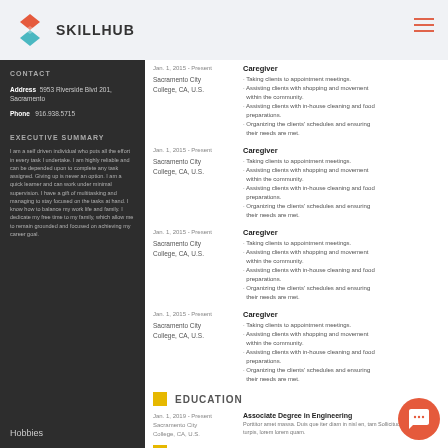SKILLHUB
CONTACT
Address: 5953 Riverside Blvd 201, Sacramento
Phone: 916.938.5715
EXECUTIVE SUMMARY
I am a self driven individual who puts all the effort in every task I undertake. I am highly reliable and can be depended upon to complete any task assigned. Giving up is never an option. I am a quick learner and can work under minimal supervision. I have a gift of multitasking and managing to stay focused on the tasks at hand. I know how to balance my work life and family. I dedicate my free time to my family, which allow me to remain grounded and focused on achieving my career goal.
Jan. 1, 2015 - Present | Sacramento City College, CA, U.S. | Caregiver | - Taking clients to appointment meetings. - Assisting clients with shopping and movement within the community. - Assisting clients with in-house cleaning and food preparations. - Organizing the clients' schedules and ensuring their needs are met.
Jan. 1, 2015 - Present | Sacramento City College, CA, U.S. | Caregiver | - Taking clients to appointment meetings. - Assisting clients with shopping and movement within the community. - Assisting clients with in-house cleaning and food preparations. - Organizing the clients' schedules and ensuring their needs are met.
Jan. 1, 2015 - Present | Sacramento City College, CA, U.S. | Caregiver | - Taking clients to appointment meetings. - Assisting clients with shopping and movement within the community. - Assisting clients with in-house cleaning and food preparations. - Organizing the clients' schedules and ensuring their needs are met.
Jan. 1, 2015 - Present | Sacramento City College, CA, U.S. | Caregiver | - Taking clients to appointment meetings. - Assisting clients with shopping and movement within the community. - Assisting clients with in-house cleaning and food preparations. - Organizing the clients' schedules and ensuring their needs are met.
EDUCATION
Jan. 1, 2019 - Present | Sacramento City College, CA, U.S. | Associate Degree in Engineering
REFERENCES
Available upon request
Hobbies